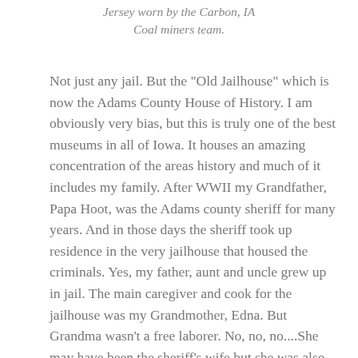Jersey worn by the Carbon, IA Coal miners team.
Not just any jail. But the "Old Jailhouse" which is now the Adams County House of History. I am obviously very bias, but this is truly one of the best museums in all of Iowa. It houses an amazing concentration of the areas history and much of it includes my family. After WWII my Grandfather, Papa Hoot, was the Adams county sheriff for many years. And in those days the sheriff took up residence in the very jailhouse that housed the criminals. Yes, my father, aunt and uncle grew up in jail. The main caregiver and cook for the jailhouse was my Grandmother, Edna. But Grandma wasn't a free laborer. No, no, no....She may have been the sheriff's wife but she was also an employee of the county. Getting paid a whole $.35/day for her